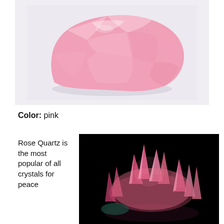[Figure (photo): A rough chunk of rose quartz mineral, pink in color, photographed against a white/light background.]
Color: pink
Rose Quartz is the most popular of all crystals for peace
[Figure (photo): A cluster of rose quartz crystals with pink translucent pointed formations, photographed against a black background.]